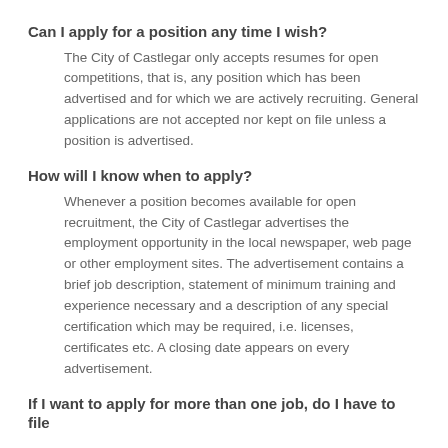Can I apply for a position any time I wish?
The City of Castlegar only accepts resumes for open competitions, that is, any position which has been advertised and for which we are actively recruiting. General applications are not accepted nor kept on file unless a position is advertised.
How will I know when to apply?
Whenever a position becomes available for open recruitment, the City of Castlegar advertises the employment opportunity in the local newspaper, web page or other employment sites. The advertisement contains a brief job description, statement of minimum training and experience necessary and a description of any special certification which may be required, i.e. licenses, certificates etc. A closing date appears on every advertisement.
If I want to apply for more than one job, do I have to file